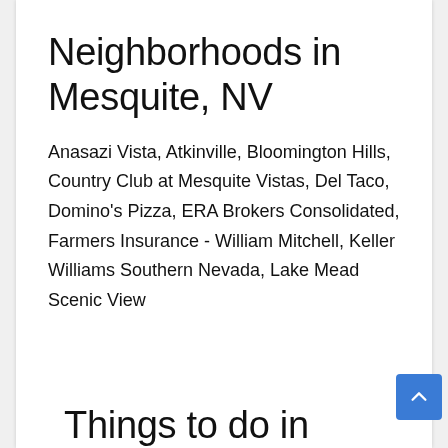Neighborhoods in Mesquite, NV
Anasazi Vista, Atkinville, Bloomington Hills, Country Club at Mesquite Vistas, Del Taco, Domino's Pizza, ERA Brokers Consolidated, Farmers Insurance - William Mitchell, Keller Williams Southern Nevada, Lake Mead Scenic View
Things to do in